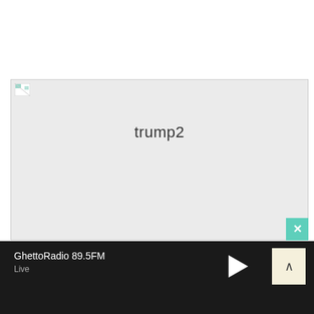[Figure (screenshot): A broken image placeholder with light gray background showing the text 'trump2' as a title, with a small broken image icon in the top-left corner and a teal close (X) button in the bottom-right corner.]
GhettoRadio 89.5FM
Live